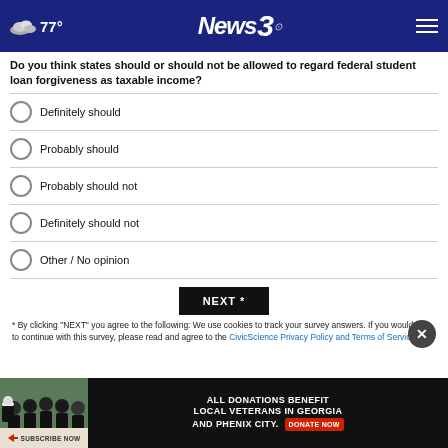77° News3
Do you think states should or should not be allowed to regard federal student loan forgiveness as taxable income?
Definitely should
Probably should
Probably should not
Definitely should not
Other / No opinion
NEXT *
* By clicking "NEXT" you agree to the following: We use cookies to track your survey answers. If you would like to continue with this survey, please read and agree to the CivicScience Privacy Policy and Terms of Service
[Figure (photo): Advertisement banner: group photo of people in black shirts with text 'ALL DONATIONS BENEFIT LOCAL VETERANS IN GEORGIA AND PHENIX CITY. DONATE NOW']